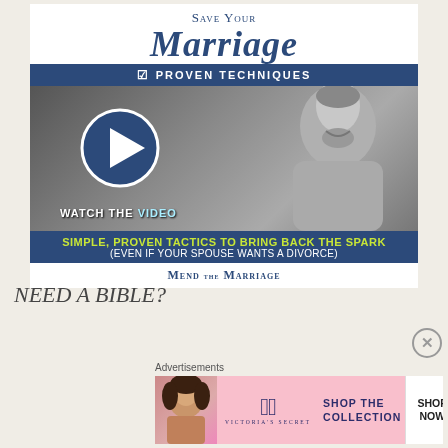[Figure (illustration): Save Your Marriage advertisement with 'Proven Techniques' subtitle, play button, man's photo, 'Watch The Video' label, and 'Simple, Proven Tactics To Bring Back The Spark (Even If Your Spouse Wants A Divorce)' slogan. Brand: Mend the Marriage.]
NEED A BIBLE?
[Figure (illustration): Victoria's Secret advertisement with logo, 'Shop The Collection' text, and 'Shop Now' button on pink background.]